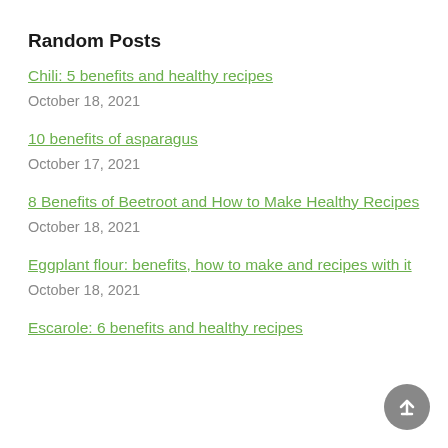Random Posts
Chili: 5 benefits and healthy recipes
October 18, 2021
10 benefits of asparagus
October 17, 2021
8 Benefits of Beetroot and How to Make Healthy Recipes
October 18, 2021
Eggplant flour: benefits, how to make and recipes with it
October 18, 2021
Escarole: 6 benefits and healthy recipes